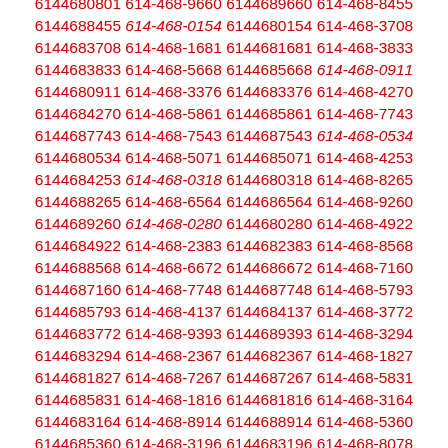6144687245 614-468-7889 6144687889 614-468-9297
6144689297 614-468-9590 6144689590 614-468-0801
6144680801 614-468-9660 6144689660 614-468-8455
6144688455 614-468-0154 6144680154 614-468-3708
6144683708 614-468-1681 6144681681 614-468-3833
6144683833 614-468-5668 6144685668 614-468-0911
6144680911 614-468-3376 6144683376 614-468-4270
6144684270 614-468-5861 6144685861 614-468-7743
6144687743 614-468-7543 6144687543 614-468-0534
6144680534 614-468-5071 6144685071 614-468-4253
6144684253 614-468-0318 6144680318 614-468-8265
6144688265 614-468-6564 6144686564 614-468-9260
6144689260 614-468-0280 6144680280 614-468-4922
6144684922 614-468-2383 6144682383 614-468-8568
6144688568 614-468-6672 6144686672 614-468-7160
6144687160 614-468-7748 6144687748 614-468-5793
6144685793 614-468-4137 6144684137 614-468-3772
6144683772 614-468-9393 6144689393 614-468-3294
6144683294 614-468-2367 6144682367 614-468-1827
6144681827 614-468-7267 6144687267 614-468-5831
6144685831 614-468-1816 6144681816 614-468-3164
6144683164 614-468-8914 6144688914 614-468-5360
6144685360 614-468-3196 6144683196 614-468-8078
6144688078 614-468-5594 6144685594 614-468-0434
6144680434 614-468-9256 6144689256 614-468-0992